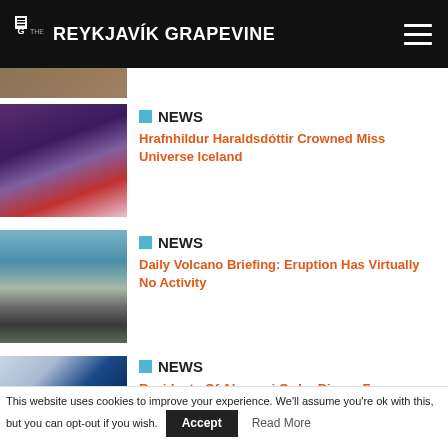THE REYKJAVÍK GRAPEVINE
NEWS
Hrafnhildur Haraldsdóttir Crowned Miss Universe Iceland
NEWS
Daily Volcano Briefing: Eruption Has Virtually No Activity
NEWS
Residents Of Akureyri Order Dinner From Reykjavík
NEWS
This website uses cookies to improve your experience. We'll assume you're ok with this, but you can opt-out if you wish.
Accept
Read More